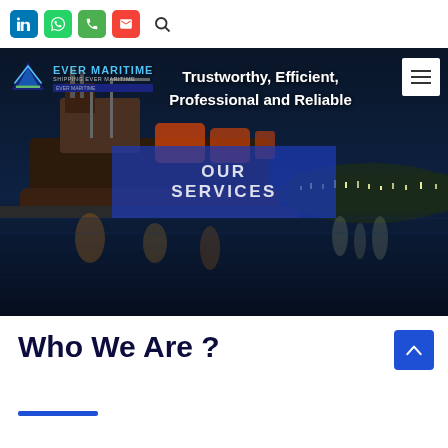Social icons: LinkedIn, WhatsApp, Phone, Email, Search
[Figure (screenshot): Ever Maritime website hero section with a nighttime harbor/port photo showing a large ship docked, with city lights reflected in the water. Overlaid text reads 'Trustworthy, Efficient, Professional and Reliable'. A blue semi-transparent box in the center reads 'OUR SERVICES'. Top-left shows Ever Maritime logo with tagline. Top-right shows a hamburger menu button.]
Who We Are ?